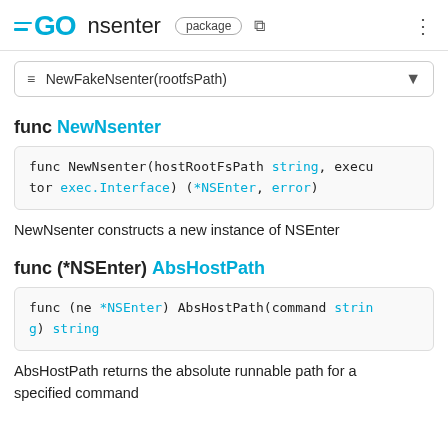GO nsenter package
≡ NewFakeNsenter(rootfsPath)
func NewNsenter
func NewNsenter(hostRootFsPath string, executor exec.Interface) (*NSEnter, error)
NewNsenter constructs a new instance of NSEnter
func (*NSEnter) AbsHostPath
func (ne *NSEnter) AbsHostPath(command string) string
AbsHostPath returns the absolute runnable path for a specified command